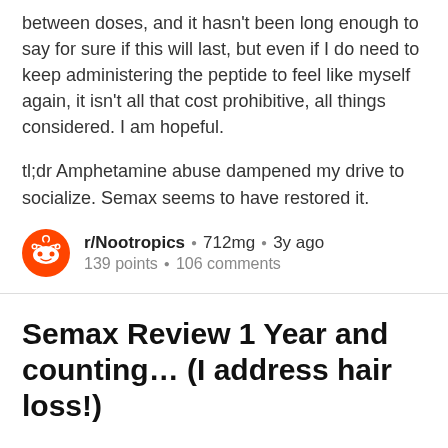between doses, and it hasn't been long enough to say for sure if this will last, but even if I do need to keep administering the peptide to feel like myself again, it isn't all that cost prohibitive, all things considered. I am hopeful.
tl;dr Amphetamine abuse dampened my drive to socialize. Semax seems to have restored it.
r/Nootropics • 712mg • 3y ago
139 points • 106 comments
Semax Review 1 Year and counting… (I address hair loss!)
Hey Everyone,
I'll divide my review into four stages:
Stage 1 (March - May 2016)